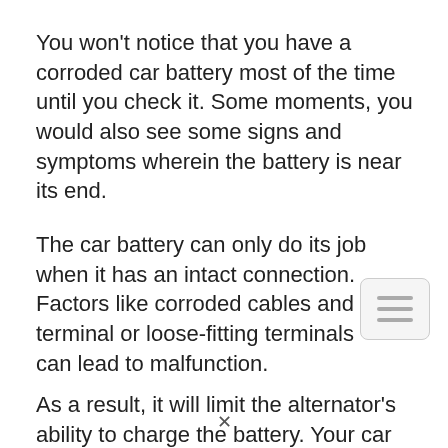You won't notice that you have a corroded car battery most of the time until you check it. Some moments, you would also see some signs and symptoms wherein the battery is near its end.
The car battery can only do its job when it has an intact connection. Factors like corroded cables and terminal or loose-fitting terminals can lead to malfunction.
As a result, it will limit the alternator's ability to charge the battery. Your car won't also have sufficient power to cover its electrical